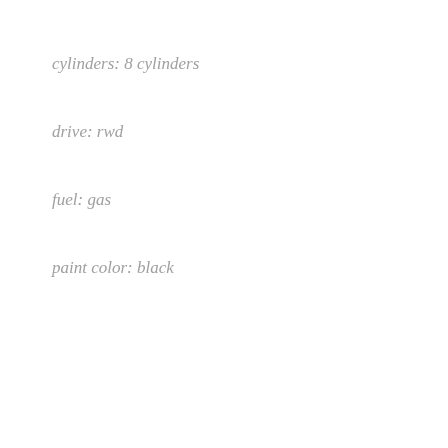cylinders: 8 cylinders
drive: rwd
fuel: gas
paint color: black